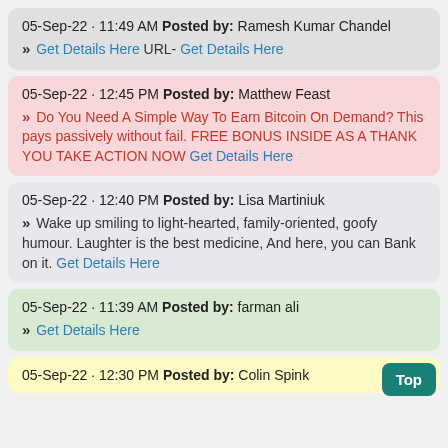05-Sep-22 · 11:49 AM Posted by: Ramesh Kumar Chandel
» Get Details Here URL- Get Details Here
05-Sep-22 · 12:45 PM Posted by: Matthew Feast
» Do You Need A Simple Way To Earn Bitcoin On Demand? This pays passively without fail. FREE BONUS INSIDE AS A THANK YOU TAKE ACTION NOW Get Details Here
05-Sep-22 · 12:40 PM Posted by: Lisa Martiniuk
» Wake up smiling to light-hearted, family-oriented, goofy humour. Laughter is the best medicine, And here, you can Bank on it. Get Details Here
05-Sep-22 · 11:39 AM Posted by: farman ali
» Get Details Here
05-Sep-22 · 12:30 PM Posted by: Colin Spink